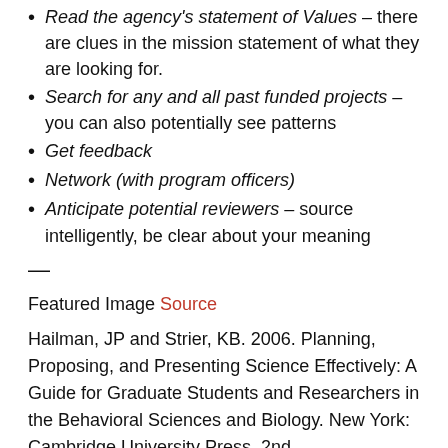Read the agency's statement of Values – there are clues in the mission statement of what they are looking for.
Search for any and all past funded projects – you can also potentially see patterns
Get feedback
Network (with program officers)
Anticipate potential reviewers – source intelligently, be clear about your meaning
—
Featured Image Source
Hailman, JP and Strier, KB. 2006. Planning, Proposing, and Presenting Science Effectively: A Guide for Graduate Students and Researchers in the Behavioral Sciences and Biology. New York: Cambridge University Press. 2nd